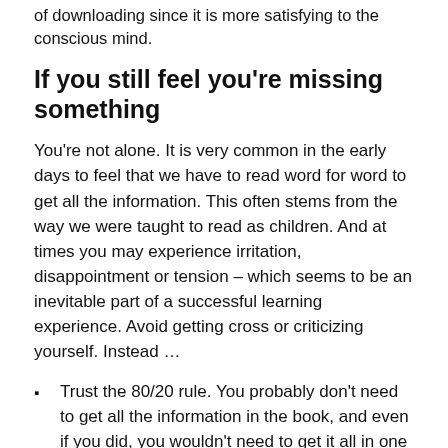of downloading since it is more satisfying to the conscious mind.
If you still feel you're missing something
You're not alone. It is very common in the early days to feel that we have to read word for word to get all the information. This often stems from the way we were taught to read as children. And at times you may experience irritation, disappointment or tension – which seems to be an inevitable part of a successful learning experience. Avoid getting cross or criticizing yourself. Instead …
Trust the 80/20 rule. You probably don't need to get all the information in the book, and even if you did, you wouldn't need to get it all in one go, and reading sequentially in the same way as you would read a novel is not the way to get it.
Do not judge the process by your first experiences. New skills may take a bit of time to become second nature. Keep going.
Switch on your inner smile and relax. The more you practise getting into a good state, the easier it gets and the more often you feel good 'for no obvious reason'.
Notice what is already working. Focus on what you have achieved and build on that.
Check what you think you've missed. Once you've followed